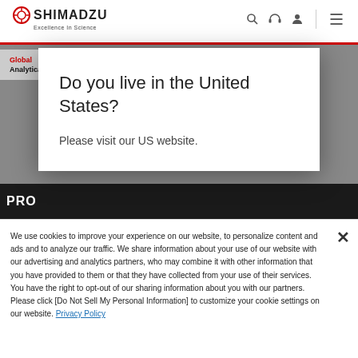SHIMADZU Excellence In Science
Global
Analytical and Measuring Instruments
Do you live in the United States?
Please visit our US website.
We use cookies to improve your experience on our website, to personalize content and ads and to analyze our traffic. We share information about your use of our website with our advertising and analytics partners, who may combine it with other information that you have provided to them or that they have collected from your use of their services. You have the right to opt-out of our sharing information about you with our partners. Please click [Do Not Sell My Personal Information] to customize your cookie settings on our website. Privacy Policy